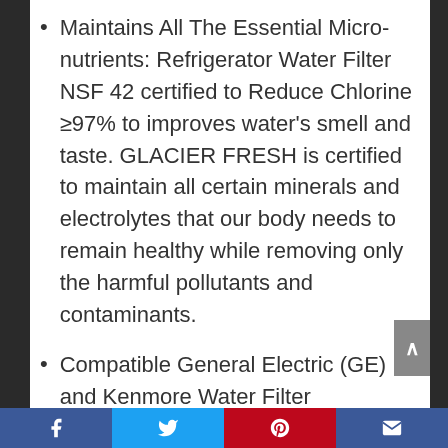Maintains All The Essential Micro-nutrients: Refrigerator Water Filter NSF 42 certified to Reduce Chlorine ≥97% to improves water's smell and taste. GLACIER FRESH is certified to maintain all certain minerals and electrolytes that our body needs to remain healthy while removing only the harmful pollutants and contaminants.
Compatible General Electric (GE) and Kenmore Water Filter Replacement: GE SamrtWater Filter, GE MWF Water Filter, GE MWFP Water Filter, GE MWFA Water Filter,
Facebook | Twitter | Pinterest | Email